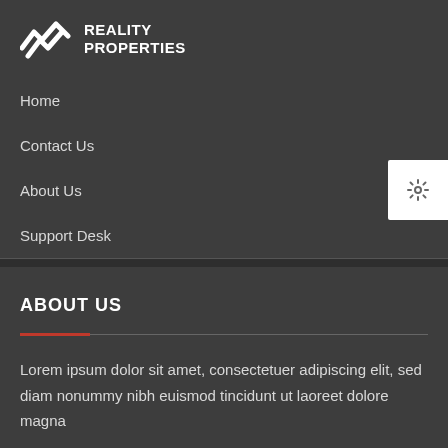[Figure (logo): Reality Properties logo with arrow/chart icon and bold text]
Home
Contact Us
About Us
Support Desk
ABOUT US
Lorem ipsum dolor sit amet, consectetuer adipiscing elit, sed diam nonummy nibh euismod tincidunt ut laoreet dolore magna